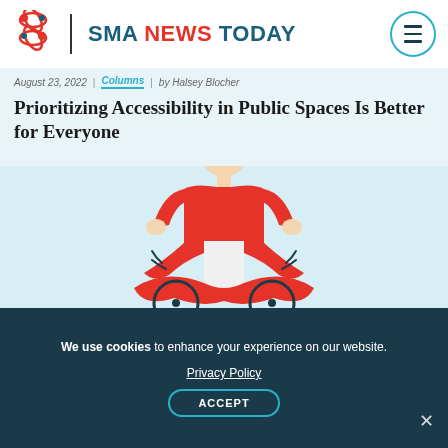SMA NEWS TODAY
August 23, 2022 | Columns | by Halsey Blocher
Prioritizing Accessibility in Public Spaces Is Better for Everyone
[Figure (illustration): Illustration of a person in a red sweater sitting in a wheelchair, depicted in a cartoon style with flowing red lines suggesting motion or a cape. Background is light blue.]
We use cookies to enhance your experience on our website.
Privacy Policy
ACCEPT